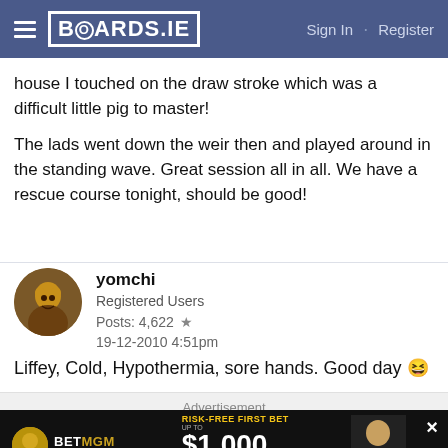BOARDS.IE  Sign In · Register
house I touched on the draw stroke which was a difficult little pig to master!
The lads went down the weir then and played around in the standing wave. Great session all in all. We have a rescue course tonight, should be good!
yomchi
Registered Users
Posts: 4,622 ★
19-12-2010 4:51pm
Liffey, Cold, Hypothermia, sore hands. Good day 😆
Advertisement